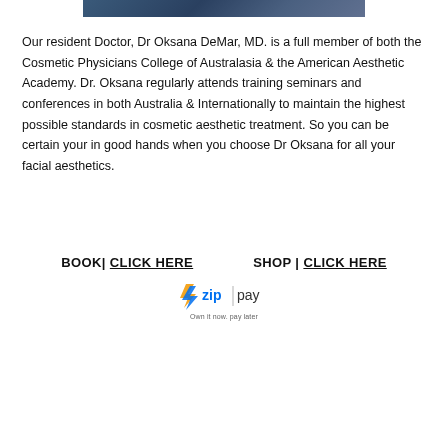[Figure (photo): Partial view of a person, cropped at top of page]
Our resident Doctor, Dr Oksana DeMar, MD. is a full member of both the Cosmetic Physicians College of Australasia & the American Aesthetic Academy. Dr. Oksana regularly attends training seminars and conferences in both Australia & Internationally to maintain the highest possible standards in cosmetic aesthetic treatment. So you can be certain your in good hands when you choose Dr Oksana for all your facial aesthetics.
BOOK| CLICK HERE   SHOP | CLICK HERE
[Figure (logo): Zip Pay logo with tagline 'Own it now. pay later']